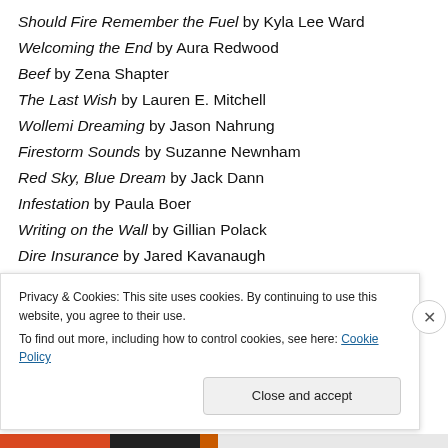Should Fire Remember the Fuel by Kyla Lee Ward
Welcoming the End by Aura Redwood
Beef by Zena Shapter
The Last Wish by Lauren E. Mitchell
Wollemi Dreaming by Jason Nahrung
Firestorm Sounds by Suzanne Newnham
Red Sky, Blue Dream by Jack Dann
Infestation by Paula Boer
Writing on the Wall by Gillian Polack
Dire Insurance by Jared Kavanaugh
Divorce by Donna J W Munro
Privacy & Cookies: This site uses cookies. By continuing to use this website, you agree to their use.
To find out more, including how to control cookies, see here: Cookie Policy
Close and accept